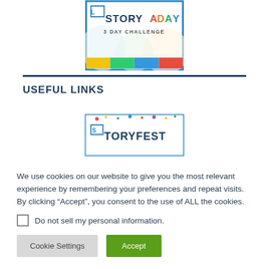[Figure (logo): StoryADay 3 Day Challenge logo with colorful text and border]
USEFUL LINKS
[Figure (logo): StoryFest logo partially visible, colorful with blue border]
We use cookies on our website to give you the most relevant experience by remembering your preferences and repeat visits. By clicking “Accept”, you consent to the use of ALL the cookies.
Do not sell my personal information.
Cookie Settings
Accept